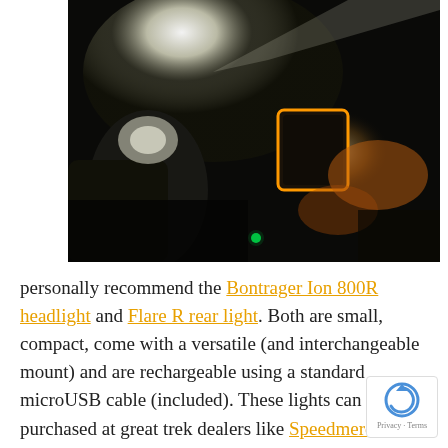[Figure (photo): Dark photograph showing a bright bicycle headlight (Bontrager Ion 800R) illuminating a scene at night, with a hand holding what appears to be a rear light (Flare R) that shows a bright LED edge glow. A small green indicator light is visible in the lower center.]
personally recommend the Bontrager Ion 800R headlight and Flare R rear light. Both are small, compact, come with a versatile (and interchangeable mount) and are rechargeable using a standard microUSB cable (included). These lights can be purchased at great trek dealers like Speedmerchants Bike Shop. While you can often find less expensive light, the 800 lumen front light provides a strong enough beam to ride at night while the Flare R is bright enough to be highly visibl even in full daylight. The only problem with the Flare R is on its high setting, some people may not want to ride behind